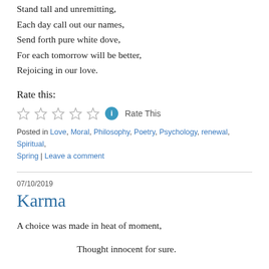Stand tall and unremitting,
Each day call out our names,
Send forth pure white dove,
For each tomorrow will be better,
Rejoicing in our love.
Rate this:
[Figure (other): Five empty star rating icons followed by a blue info circle icon and 'Rate This' text]
Posted in Love, Moral, Philosophy, Poetry, Psychology, renewal, Spiritual, Spring | Leave a comment
07/10/2019
Karma
A choice was made in heat of moment,

Thought innocent for sure.